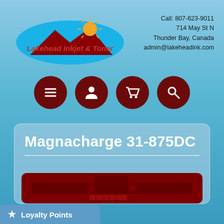[Figure (logo): Lakehead Inkjet & Toner logo with mountain silhouette and sun, on blue oval background]
Call: 807-623-9011
714 May St N
Thunder Bay, Canada
admin@lakeheadink.com
[Figure (infographic): Navigation icon bar with four dark red circular buttons: hamburger menu, user/person, shopping cart, and search/magnifier icons]
Magnacharge 31-875DC
[Figure (photo): Product image of Magnacharge 31-875DC battery/charger unit shown on dark red background with product details and small item icons at the bottom]
Loyalty Points